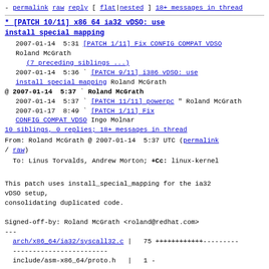- permalink raw reply  [ flat|nested ] 18+ messages in thread
* [PATCH 10/11] x86 64 ia32 vDSO: use install special mapping
2007-01-14  5:31 [PATCH 1/11] Fix CONFIG COMPAT VDSO Roland McGrath
(7 preceding siblings ...)
2007-01-14  5:36 ` [PATCH 9/11] i386 vDSO: use install special mapping Roland McGrath
@ 2007-01-14  5:37 ` Roland McGrath
2007-01-14  5:37 ` [PATCH 11/11] powerpc " Roland McGrath
2007-01-17  8:49 ` [PATCH 1/11] Fix CONFIG COMPAT VDSO Ingo Molnar
10 siblings, 0 replies; 18+ messages in thread
From: Roland McGrath @ 2007-01-14  5:37 UTC (permalink / raw)
To: Linus Torvalds, Andrew Morton; +Cc: linux-kernel
This patch uses install_special_mapping for the ia32 vDSO setup,
consolidating duplicated code.

Signed-off-by: Roland McGrath <roland@redhat.com>
---
 arch/x86_64/ia32/syscall32.c |  75 +++++++++++---------
 include/asm-x86_64/proto.h   |   1 -